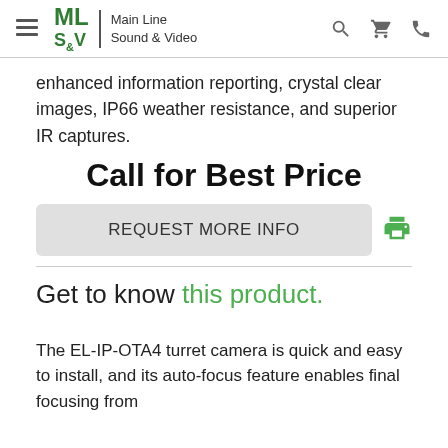ML S&V Main Line Sound & Video
enhanced information reporting, crystal clear images, IP66 weather resistance, and superior IR captures.
Call for Best Price
REQUEST MORE INFO
Get to know this product.
The EL-IP-OTA4 turret camera is quick and easy to install, and its auto-focus feature enables final focusing from